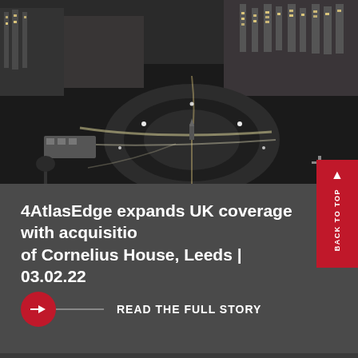[Figure (photo): Aerial black and white night photograph of a city roundabout in Leeds, showing illuminated streets, buildings, and traffic light trails]
4AtlasEdge expands UK coverage with acquisition of Cornelius House, Leeds | 03.02.22
READ THE FULL STORY